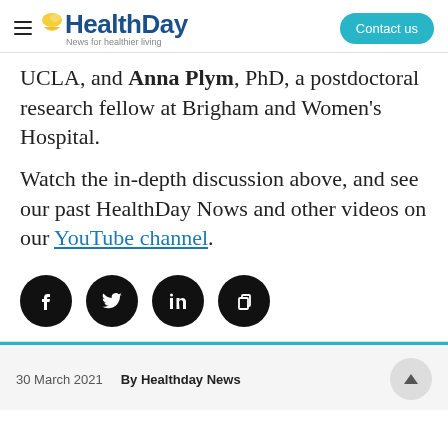HealthDay — News for healthier living | Contact us
UCLA, and Anna Plym, PhD, a postdoctoral research fellow at Brigham and Women's Hospital.
Watch the in-depth discussion above, and see our past HealthDay Nows and other videos on our YouTube channel.
[Figure (other): Social media share icons: Facebook, Twitter, LinkedIn, Copy link — black circles with white icons]
30 March 2021   By Healthday News